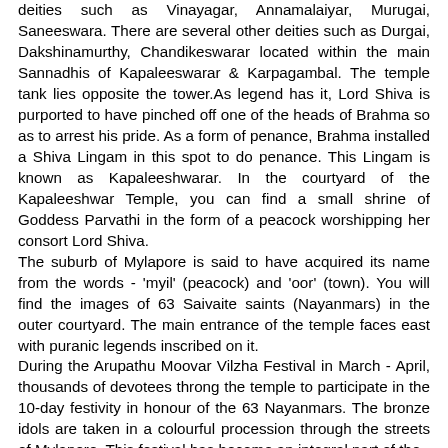deities such as Vinayagar, Annamalaiyar, Murugai, Saneeswara. There are several other deities such as Durgai, Dakshinamurthy, Chandikeswarar located within the main Sannadhis of Kapaleeswarar & Karpagambal. The temple tank lies opposite the tower.As legend has it, Lord Shiva is purported to have pinched off one of the heads of Brahma so as to arrest his pride. As a form of penance, Brahma installed a Shiva Lingam in this spot to do penance. This Lingam is known as Kapaleeshwarar. In the courtyard of the Kapaleeshwar Temple, you can find a small shrine of Goddess Parvathi in the form of a peacock worshipping her consort Lord Shiva.
The suburb of Mylapore is said to have acquired its name from the words - 'myil' (peacock) and 'oor' (town). You will find the images of 63 Saivaite saints (Nayanmars) in the outer courtyard. The main entrance of the temple faces east with puranic legends inscribed on it.
During the Arupathu Moovar Vilzha Festival in March - April, thousands of devotees throng the temple to participate in the 10-day festivity in honour of the 63 Nayanmars. The bronze idols are taken in a colourful procession through the streets of Mylapore. This festival has become an integral part of the